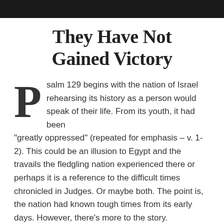They Have Not Gained Victory
Psalm 129 begins with the nation of Israel rehearsing its history as a person would speak of their life. From its youth, it had been "greatly oppressed" (repeated for emphasis – v. 1-2). This could be an illusion to Egypt and the travails the fledgling nation experienced there or perhaps it is a reference to the difficult times chronicled in Judges. Or maybe both. The point is, the nation had known tough times from its early days. However, there's more to the story.